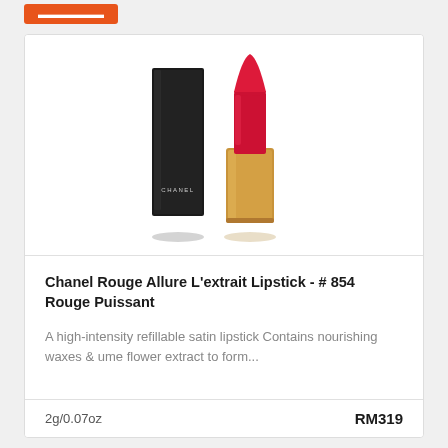[Figure (photo): Chanel Rouge Allure L'extrait Lipstick product photo showing black rectangular lipstick case and open gold tube with red lipstick bullet, CHANEL branding on case]
Chanel Rouge Allure L'extrait Lipstick - # 854 Rouge Puissant
A high-intensity refillable satin lipstick Contains nourishing waxes & ume flower extract to form...
2g/0.07oz
RM319